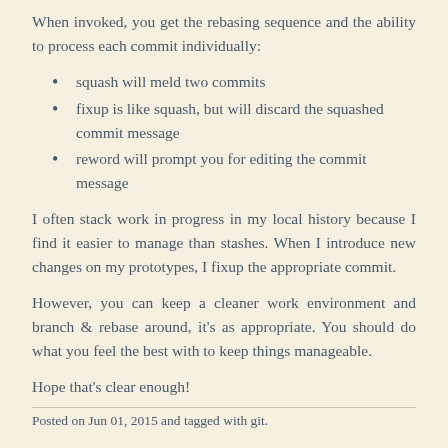When invoked, you get the rebasing sequence and the ability to process each commit individually:
squash will meld two commits
fixup is like squash, but will discard the squashed commit message
reword will prompt you for editing the commit message
I often stack work in progress in my local history because I find it easier to manage than stashes. When I introduce new changes on my prototypes, I fixup the appropriate commit.
However, you can keep a cleaner work environment and branch & rebase around, it’s as appropriate. You should do what you feel the best with to keep things manageable.
Hope that’s clear enough!
Posted on Jun 01, 2015 and tagged with git.